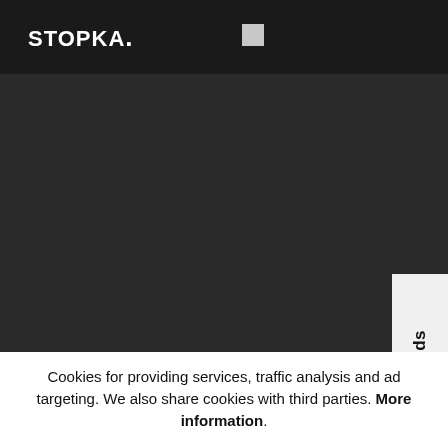STOPKA.
[Figure (screenshot): Dark background area representing a website content region with a 'More brands' tab on the right side]
Cookies for providing services, traffic analysis and ad targeting. We also share cookies with third parties. More information.
Accept
Reject